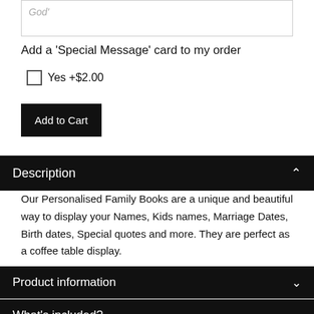God'
Add a 'Special Message' card to my order
Yes +$2.00
Add to Cart
Description
Our Personalised Family Books are a unique and beautiful way to display your Names, Kids names, Marriage Dates, Birth dates, Special quotes and more. They are perfect as a coffee table display.
Product information
What's included?